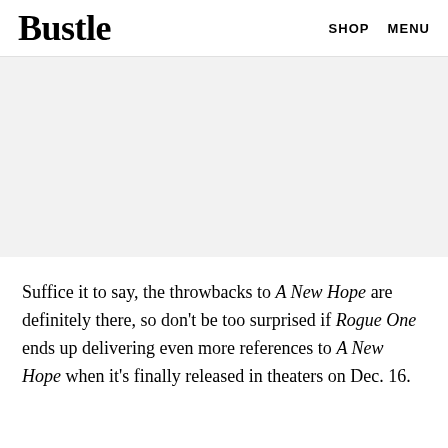Bustle   SHOP   MENU
[Figure (other): Advertisement placeholder area with light gray background]
Suffice it to say, the throwbacks to A New Hope are definitely there, so don't be too surprised if Rogue One ends up delivering even more references to A New Hope when it's finally released in theaters on Dec. 16.